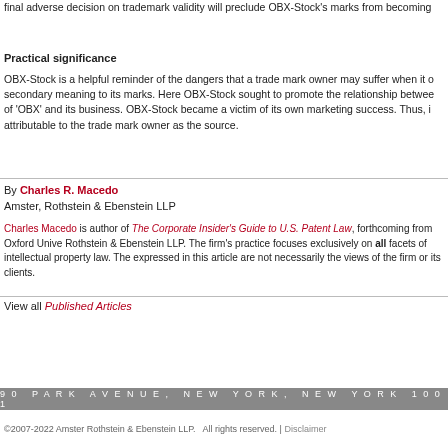final adverse decision on trademark validity will preclude OBX-Stock's marks from becoming
Practical significance
OBX-Stock is a helpful reminder of the dangers that a trade mark owner may suffer when it over-promotes secondary meaning to its marks. Here OBX-Stock sought to promote the relationship between the term of 'OBX' and its business. OBX-Stock became a victim of its own marketing success. Thus, it was not attributable to the trade mark owner as the source.
By Charles R. Macedo
Amster, Rothstein & Ebenstein LLP
Charles Macedo is author of The Corporate Insider's Guide to U.S. Patent Law, forthcoming from Oxford University Press. He is a partner at Amster, Rothstein & Ebenstein LLP. The firm's practice focuses exclusively on all facets of intellectual property law. The views expressed in this article are not necessarily the views of the firm or its clients.
View all Published Articles
90 PARK AVENUE, NEW YORK, NEW YORK 1001
©2007-2022 Amster Rothstein & Ebenstein LLP.   All rights reserved. | Disclaimer